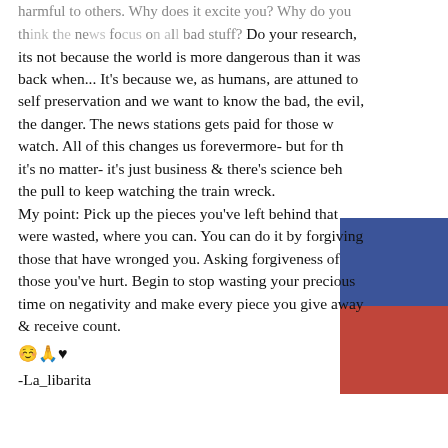harmful to others. Why does it excite you? Why do you think the news focus on all bad stuff? Do your research, its not because the world is more dangerous than it was back when... It's because we, as humans, are attuned to self preservation and we want to know the bad, the evil, the danger. The news stations gets paid for those who watch. All of this changes us forevermore- but for th... it's no matter- it's just business & there's science behind the pull to keep watching the train wreck.
My point: Pick up the pieces you've left behind that were wasted, where you can. You can do it by forgiving those that have wronged you. Asking forgiveness of those you've hurt. Begin to stop wasting your precious time on negativity and make every piece you give away & receive count.
[Figure (illustration): Two overlapping colored rectangles in the upper right area: a blue rectangle on top and a red rectangle below it.]
☺️🙏♥
-La_libarita